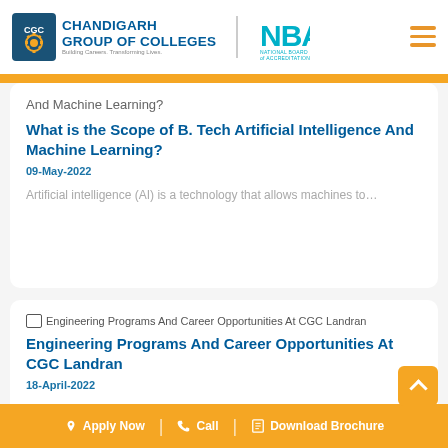[Figure (logo): Chandigarh Group of Colleges (CGC) logo with gear icon and text, paired with NBA (National Board of Accreditation) logo]
And Machine Learning?
What is the Scope of B. Tech Artificial Intelligence And Machine Learning?
09-May-2022
Artificial intelligence (AI) is a technology that allows machines to…
[Figure (other): Broken image placeholder for Engineering Programs And Career Opportunities At CGC Landran]
Engineering Programs And Career Opportunities At CGC Landran
18-April-2022
Apply Now | Call | Download Brochure